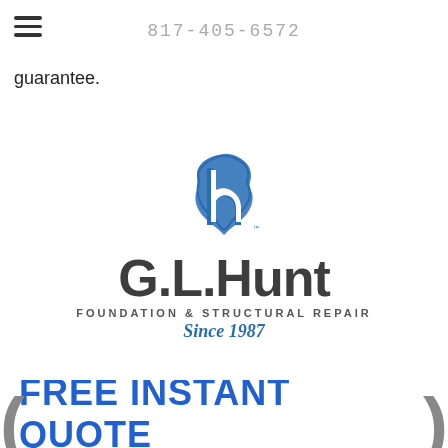817-405-6572
guarantee.
[Figure (logo): G.L.Hunt Foundation & Structural Repair logo with Texas state shape icon and 'Since 1987' tagline]
FREE INSTANT QUOTE